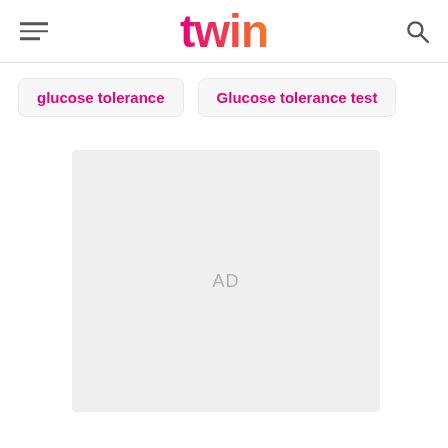twin
glucose tolerance
Glucose tolerance test
[Figure (other): Advertisement placeholder box labeled AD]